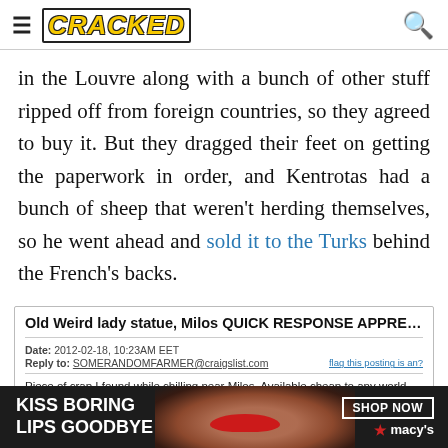CRACKED
in the Louvre along with a bunch of other stuff ripped off from foreign countries, so they agreed to buy it. But they dragged their feet on getting the paperwork in order, and Kentrotas had a bunch of sheep that weren't herding themselves, so he went ahead and sold it to the Turks behind the French's backs.
[Figure (screenshot): Craigslist-style posting: 'Old Weird lady statue, Milos QUICK RESPONSE APPRECIATED' dated 2012-02-18, 10:23AM EET, Reply to: SOMERANDOMFARMER@craigslist.com. Body: 'Piece of crap I found while chilling near Milos. Available cheap to any world power willing to pick it up. NO DELIVERY']
[Figure (infographic): Advertisement banner: KISS BORING LIPS GOODBYE with woman's face and red lips, SHOP NOW, macy's logo with red star]